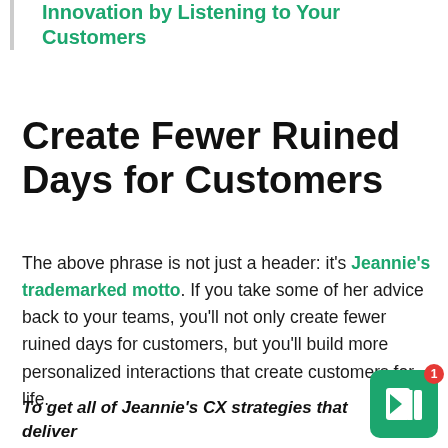Innovation by Listening to Your Customers
Create Fewer Ruined Days for Customers
The above phrase is not just a header: it's Jeannie's trademarked motto. If you take some of her advice back to your teams, you'll not only create fewer ruined days for customers, but you'll build more personalized interactions that create customers for life.
To get all of Jeannie's CX strategies that deliver